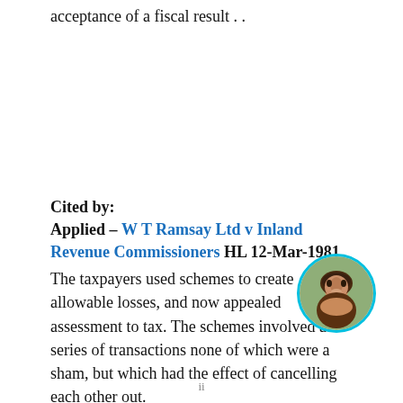acceptance of a fiscal result . .
Cited by:
Applied – W T Ramsay Ltd v Inland Revenue Commissioners HL 12-Mar-1981
The taxpayers used schemes to create allowable losses, and now appealed assessment to tax. The schemes involved a series of transactions none of which were a sham, but which had the effect of cancelling each other out.
Held: If the true nature . .
Cited – Jones v Michael Vincent Garnett (HM